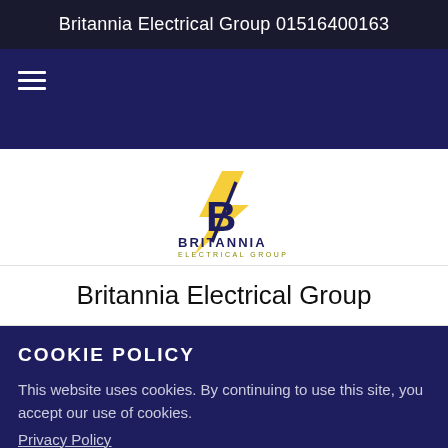Britannia Electrical Group 01516400163
[Figure (logo): Britannia Electrical Group logo with stylized B and lightning bolt in dark blue and gold/yellow, with text BRITANNIA ELECTRICAL GROUP below]
Britannia Electrical Group
COOKIE POLICY
This website uses cookies. By continuing to use this site, you accept our use of cookies.
Privacy Policy